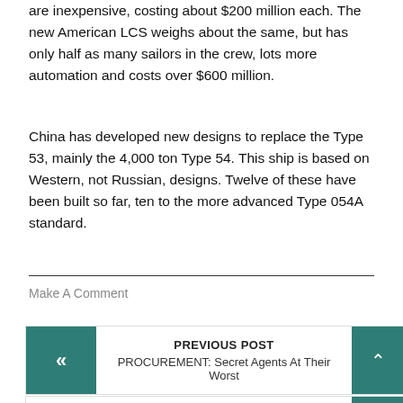The new American LCS weighs about the same, but has only half as many sailors in the crew, lots more automation and costs over $600 million.
China has developed new designs to replace the Type 53, mainly the 4,000 ton Type 54. This ship is based on Western, not Russian, designs. Twelve of these have been built so far, ten to the more advanced Type 054A standard.
Make A Comment
PREVIOUS POST
PROCUREMENT: Secret Agents At Their Worst
NEXT POST
INFORMATION WARFARE: Swedish Sets